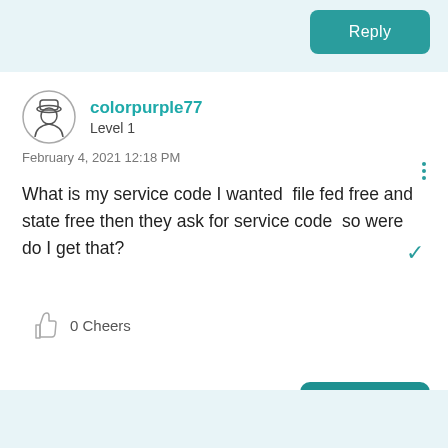Reply
colorpurple77
Level 1
February 4, 2021 12:18 PM
What is my service code I wanted  file fed free and state free then they ask for service code  so were do I get that?
0 Cheers
Reply